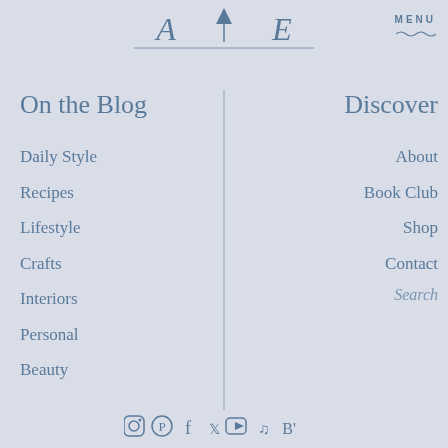[Figure (logo): Blog logo with stylized letters A, T/arrow, E and a horizontal line beneath]
MENU
On the Blog
Discover
Daily Style
Recipes
Lifestyle
Crafts
Interiors
Personal
Beauty
About
Book Club
Shop
Contact
Search
[Figure (illustration): Row of social media icons: Instagram, Pinterest, Facebook, Twitter, YouTube, TikTok, Bloglovin]